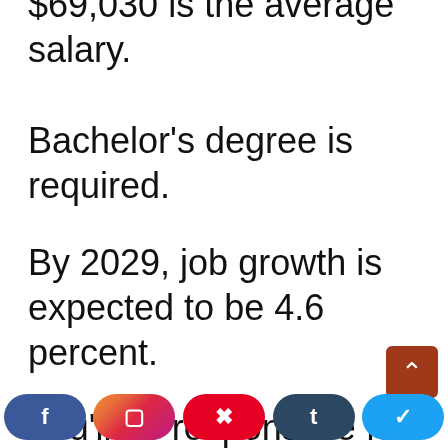$69,030 is the average salary.
Bachelor's degree is required.
By 2029, job growth is expected to be 4.6 percent.
You'll be responsible for ensuring that businesses and government agencies adhere internal regulations as well as